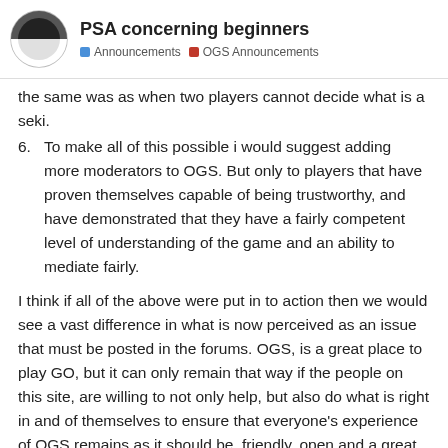PSA concerning beginners | Announcements | OGS Announcements
the same was as when two players cannot decide what is a seki.
To make all of this possible i would suggest adding more moderators to OGS. But only to players that have proven themselves capable of being trustworthy, and have demonstrated that they have a fairly competent level of understanding of the game and an ability to mediate fairly.
I think if all of the above were put in to action then we would see a vast difference in what is now perceived as an issue that must be posted in the forums. OGS, is a great place to play GO, but it can only remain that way if the people on this site, are willing to not only help, but also do what is right in and of themselves to ensure that everyone's experience of OGS remains as it should be, friendly, open and a great gaming experience.
9 likes | 20 / 82 | trohde